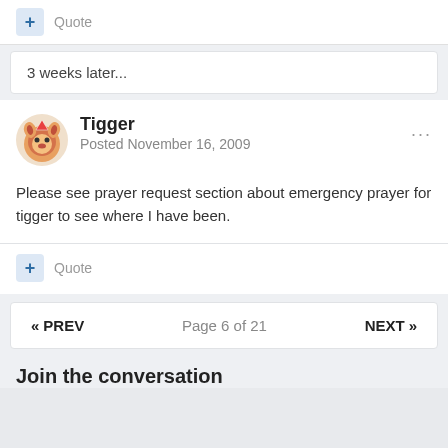+ Quote
3 weeks later...
Tigger
Posted November 16, 2009
Please see prayer request section about emergency prayer for tigger to see where I have been.
+ Quote
« PREV    Page 6 of 21    NEXT »
Join the conversation